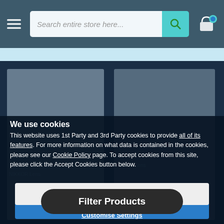[Figure (screenshot): E-commerce website navigation bar with hamburger menu, search field reading 'Search entire store here...', teal search button with magnifier icon, and shopping cart icon with teal badge]
[Figure (screenshot): Background product listing page showing two product cards partially visible with camera lens products on a dark blue background]
We use cookies
This website uses 1st Party and 3rd Party cookies to provide all of its features. For more information on what data is contained in the cookies, please see our Cookie Policy page. To accept cookies from this site, please click the Accept Cookies button below.
Accept Cookies
Filter Products
Decline
Customise Settings
5.6G ED AF-S DX VR NIKKOR Lens
Fisheye Lens
New Or Secondhand Secondhand